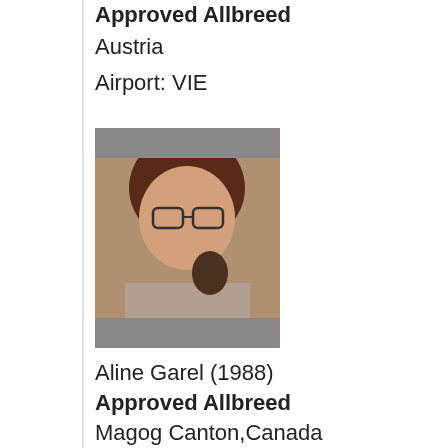Approved Allbreed
Austria
Airport: VIE
[Figure (photo): Portrait photo of a woman with short brown hair and glasses, holding a dark object, likely a dog.]
Aline Garel (1988)
Approved Allbreed
Magog Canton,Canada
Ring / School Instructor
Distinguished Judge
[Figure (photo): Partial portrait photo of another person, cropped at bottom of page.]